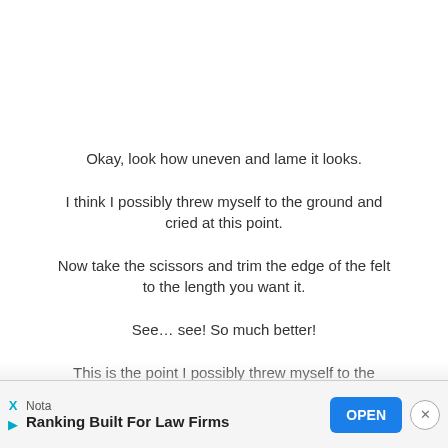Okay, look how uneven and lame it looks.
I think I possibly threw myself to the ground and cried at this point.
Now take the scissors and trim the edge of the felt to the length you want it.
See… see! So much better!
This is the point I possibly threw myself to the ground and cried with joy.
[Figure (other): Advertisement banner for Nota - Ranking Built For Law Firms with an OPEN button and close button]